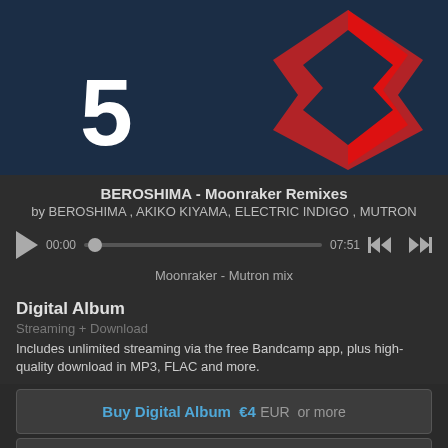[Figure (illustration): Album artwork showing a dark blue background with a large white number 5 and a partial red Bandcamp logo bird on the right]
BEROSHIMA - Moonraker Remixes
by BEROSHIMA , AKIKO KIYAMA, ELECTRIC INDIGO , MUTRON
[Figure (other): Audio player with play button, progress bar showing 00:00 to 07:51, skip back and skip forward controls]
Moonraker - Mutron mix
Digital Album
Streaming + Download
Includes unlimited streaming via the free Bandcamp app, plus high-quality download in MP3, FLAC and more.
Buy Digital Album €4 EUR  or more
Send as Gift